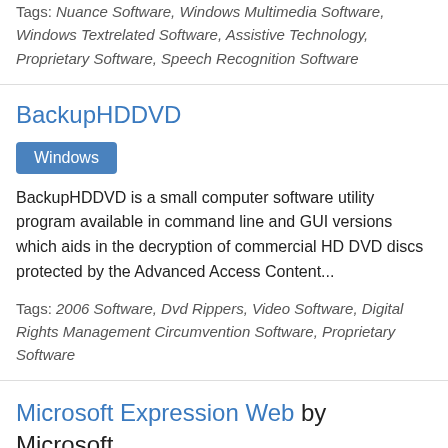Tags: Nuance Software, Windows Multimedia Software, Windows Textrelated Software, Assistive Technology, Proprietary Software, Speech Recognition Software
BackupHDDVD
Windows
BackupHDDVD is a small computer software utility program available in command line and GUI versions which aids in the decryption of commercial HD DVD discs protected by the Advanced Access Content...
Tags: 2006 Software, Dvd Rippers, Video Software, Digital Rights Management Circumvention Software, Proprietary Software
Microsoft Expression Web by Microsoft